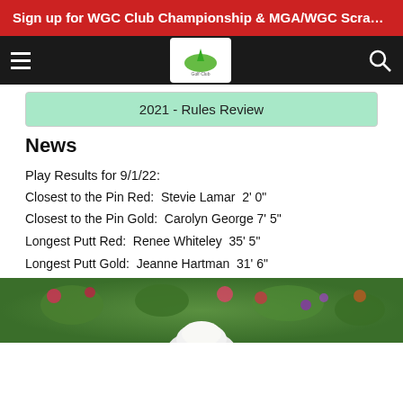Sign up for WGC Club Championship & MGA/WGC Scramble! Se...
[Figure (screenshot): Navigation bar with hamburger menu icon on left, golf club logo in center, and search icon on right, on dark background]
2021 - Rules Review
News
Play Results for 9/1/22:
Closest to the Pin Red:  Stevie Lamar  2' 0"
Closest to the Pin Gold:  Carolyn George 7' 5"
Longest Putt Red:  Renee Whiteley  35' 5"
Longest Putt Gold:  Jeanne Hartman  31' 6"
[Figure (photo): Partial photo showing flowers and greenery with what appears to be a person wearing a white hat at the bottom of the frame]